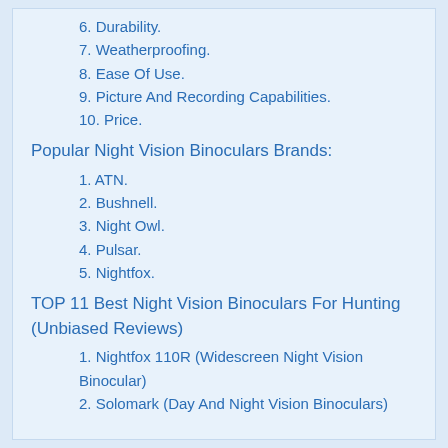6. Durability.
7. Weatherproofing.
8. Ease Of Use.
9. Picture And Recording Capabilities.
10. Price.
Popular Night Vision Binoculars Brands:
1. ATN.
2. Bushnell.
3. Night Owl.
4. Pulsar.
5. Nightfox.
TOP 11 Best Night Vision Binoculars For Hunting (Unbiased Reviews)
1. Nightfox 110R (Widescreen Night Vision Binocular)
2. Solomark (Day And Night Vision Binoculars)